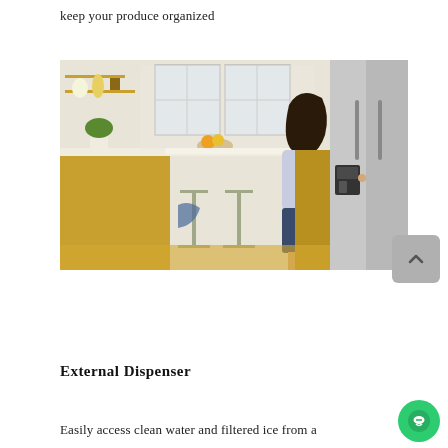keep your produce organized
[Figure (photo): A woman standing in a bright kitchen with yellow cabinets, interacting with the external dispenser on a stainless steel side-by-side refrigerator.]
External Dispenser
Easily access clean water and filtered ice from a